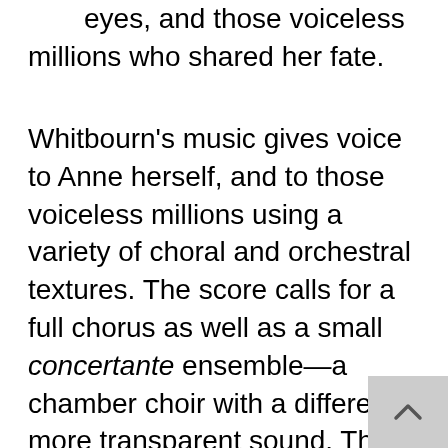eyes, and those voiceless millions who shared her fate.
Whitbourn's music gives voice to Anne herself, and to those voiceless millions using a variety of choral and orchestral textures. The score calls for a full chorus as well as a small concertante ensemble—a chamber choir with a different, more transparent sound. The full chorus ports the weight of both the most dramatic scenes—near captures—and some of the most universal pronouncements. The concertante conveys some of the most simple, profound ideas. As for the soprano soloist, the multiple modes Whitbourn has created for her—different tempos, different registers—reflect the facets of Anne's personality and